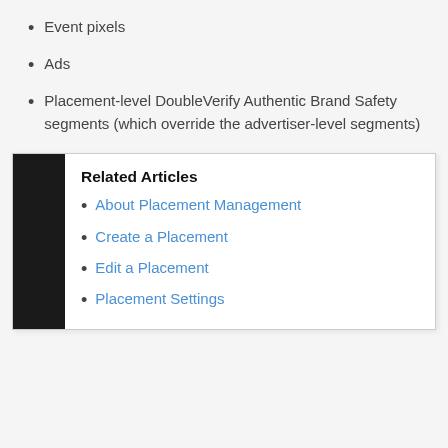Event pixels
Ads
Placement-level DoubleVerify Authentic Brand Safety segments (which override the advertiser-level segments)
Related Articles
About Placement Management
Create a Placement
Edit a Placement
Placement Settings